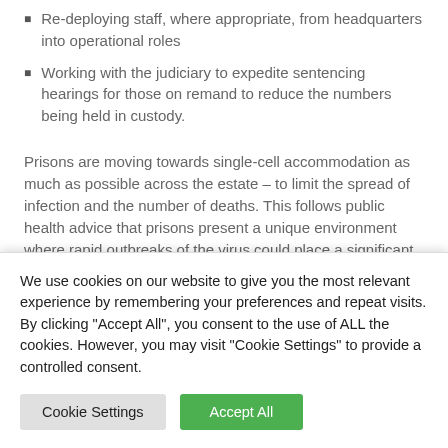Re-deploying staff, where appropriate, from headquarters into operational roles
Working with the judiciary to expedite sentencing hearings for those on remand to reduce the numbers being held in custody.
Prisons are moving towards single-cell accommodation as much as possible across the estate – to limit the spread of infection and the number of deaths. This follows public health advice that prisons present a unique environment where rapid outbreaks of the virus could place a significant
We use cookies on our website to give you the most relevant experience by remembering your preferences and repeat visits. By clicking "Accept All", you consent to the use of ALL the cookies. However, you may visit "Cookie Settings" to provide a controlled consent.